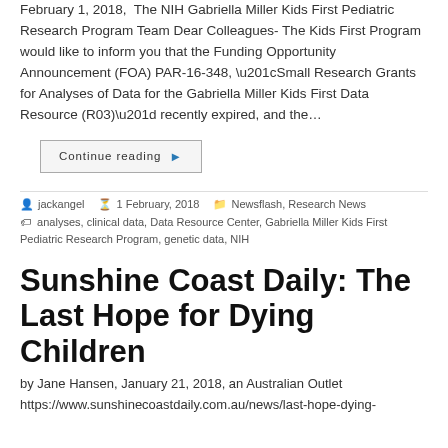February 1, 2018,  The NIH Gabriella Miller Kids First Pediatric Research Program Team Dear Colleagues- The Kids First Program would like to inform you that the Funding Opportunity Announcement (FOA) PAR-16-348, “Small Research Grants for Analyses of Data for the Gabriella Miller Kids First Data Resource (R03)” recently expired, and the…
Continue reading ▶
jackangel   1 February, 2018   Newsflash, Research News
analyses, clinical data, Data Resource Center, Gabriella Miller Kids First Pediatric Research Program, genetic data, NIH
Sunshine Coast Daily: The Last Hope for Dying Children
by Jane Hansen, January 21, 2018, an Australian Outlet
https://www.sunshinecoastdaily.com.au/news/last-hope-dying-